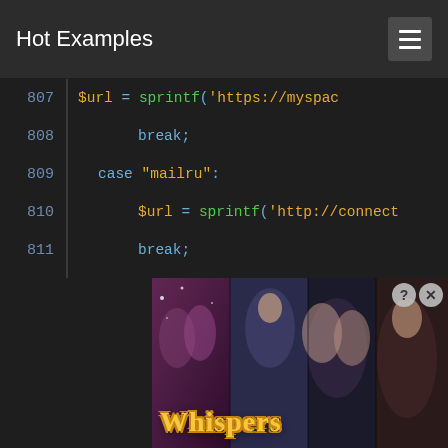Hot Examples
[Figure (screenshot): Code viewer showing PHP switch-case statements with line numbers 807-821. Lines show URL assignments using sprintf for various social networks: mailru, viadeo, line, embedly. Colors: line numbers in blue-grey, keywords in blue, strings/variables in orange, function names in green.]
[Figure (photo): Advertisement banner for 'Whispers' game/app showing romantic visual novel imagery with illustrated characters and the Whispers logo in gold script text. Includes close and question-mark overlay icons.]